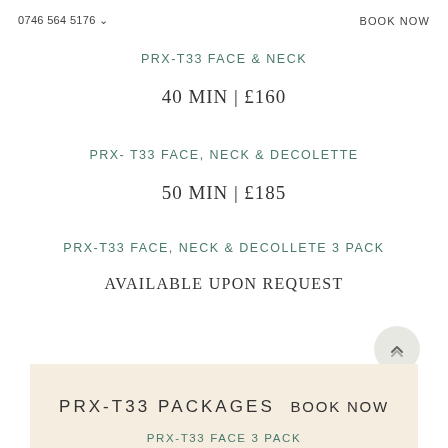0746 564 5176   BOOK NOW
PRX-T33 FACE & NECK
40 MIN | £160
PRX- T33 FACE, NECK & DECOLETTE
50 MIN | £185
PRX-T33 FACE, NECK & DECOLLETE 3 PACK
AVAILABLE UPON REQUEST
PRX-T33 PACKAGES  BOOK NOW
PRX-T33 FACE 3 PACK